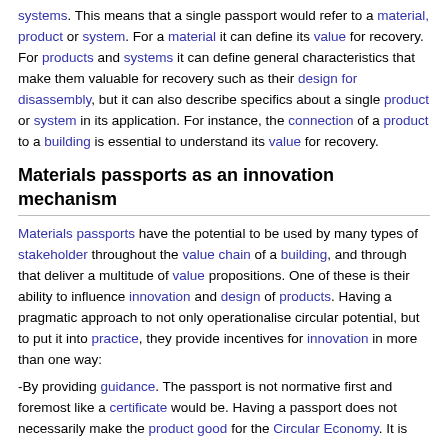systems. This means that a single passport would refer to a material, product or system. For a material it can define its value for recovery. For products and systems it can define general characteristics that make them valuable for recovery such as their design for disassembly, but it can also describe specifics about a single product or system in its application. For instance, the connection of a product to a building is essential to understand its value for recovery.
Materials passports as an innovation mechanism
Materials passports have the potential to be used by many types of stakeholder throughout the value chain of a building, and through that deliver a multitude of value propositions. One of these is their ability to influence innovation and design of products. Having a pragmatic approach to not only operationalise circular potential, but to put it into practice, they provide incentives for innovation in more than one way:
-By providing guidance. The passport is not normative first and foremost like a certificate would be. Having a passport does not necessarily make the product good for the Circular Economy. It is